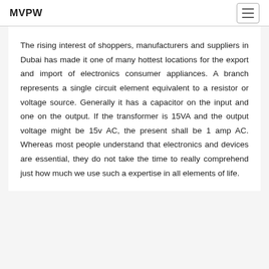MVPW
The rising interest of shoppers, manufacturers and suppliers in Dubai has made it one of many hottest locations for the export and import of electronics consumer appliances. A branch represents a single circuit element equivalent to a resistor or voltage source. Generally it has a capacitor on the input and one on the output. If the transformer is 15VA and the output voltage might be 15v AC, the present shall be 1 amp AC. Whereas most people understand that electronics and devices are essential, they do not take the time to really comprehend just how much we use such a expertise in all elements of life.